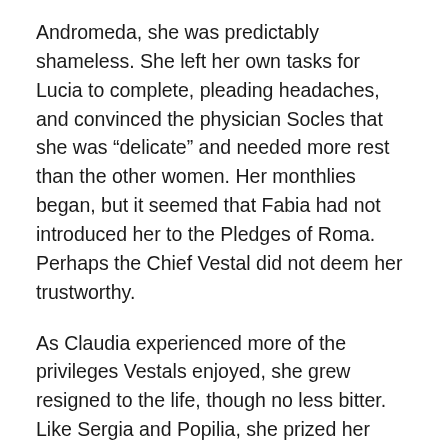Andromeda, she was predictably shameless. She left her own tasks for Lucia to complete, pleading headaches, and convinced the physician Socles that she was “delicate” and needed more rest than the other women. Her monthlies began, but it seemed that Fabia had not introduced her to the Pledges of Roma. Perhaps the Chief Vestal did not deem her trustworthy.
As Claudia experienced more of the privileges Vestals enjoyed, she grew resigned to the life, though no less bitter. Like Sergia and Popilia, she prized her front-row seats at games and entertainments, and accepted every invitation to fashionable dinner parties. She loved to be accompanied by lictors, the beefy bodyguards who escorted Vestals to and from ceremonial occasions; a lictor was a privilege otherwise reserved for Roman magistrates of high rank. Most of all, Claudia relished the